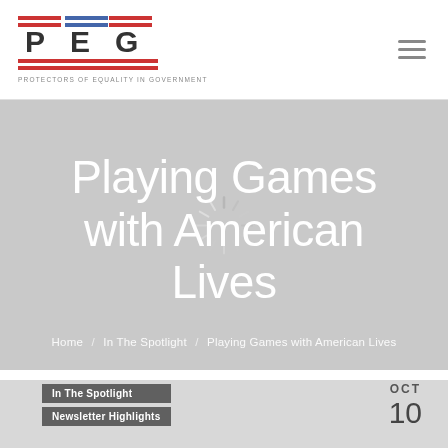PEG — Protectors of Equality in Government
Playing Games with American Lives
Home / In The Spotlight / Playing Games with American Lives
In The Spotlight
Newsletter Highlights
OCT 10